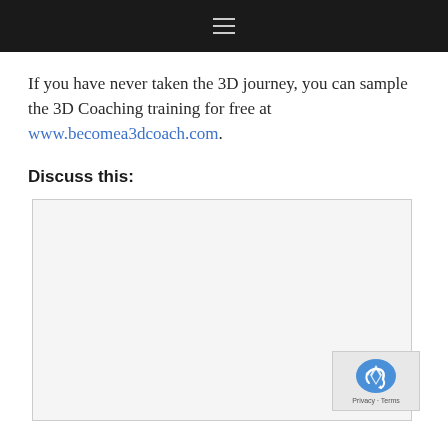≡
If you have never taken the 3D journey, you can sample the 3D Coaching training for free at www.becomea3dcoach.com.
Discuss this:
[Figure (other): Comment text area input box, light gray background with border]
[Figure (other): reCAPTCHA badge with logo and Privacy - Terms text]